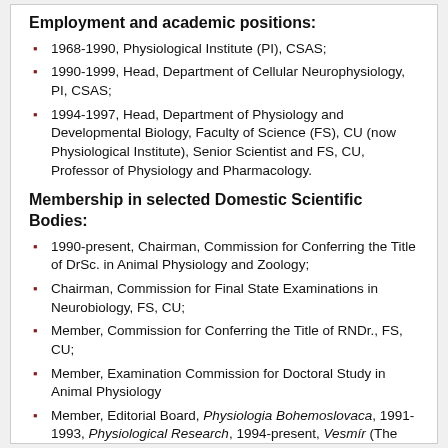Employment and academic positions:
1968-1990, Physiological Institute (PI), CSAS;
1990-1999, Head, Department of Cellular Neurophysiology, PI, CSAS;
1994-1997, Head, Department of Physiology and Developmental Biology, Faculty of Science (FS), CU (now Physiological Institute), Senior Scientist and FS, CU, Professor of Physiology and Pharmacology.
Membership in selected Domestic Scientific Bodies:
1990-present, Chairman, Commission for Conferring the Title of DrSc. in Animal Physiology and Zoology;
Chairman, Commission for Final State Examinations in Neurobiology, FS, CU;
Member, Commission for Conferring the Title of RNDr., FS, CU;
Member, Examination Commission for Doctoral Study in Animal Physiology
Member, Editorial Board, Physiologia Bohemoslovaca, 1991-1993, Physiological Research, 1994-present, Vesmír (The Universe) 1991-present
1990-1994, Member, Academic Assembly
1992-present, Member, Council of Academy of Sciences of Czech Republic (AS CR) for promotion of science
1994-1997, Member, Scientific Council, Biological Section, FS, CU
1991-present, Member, Scientific Council, Foundation of Czech Literary Fund